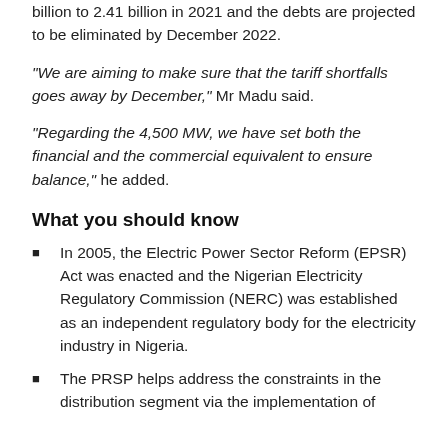billion to 2.41 billion in 2021 and the debts are projected to be eliminated by December 2022.
“We are aiming to make sure that the tariff shortfalls goes away by December,” Mr Madu said.
“Regarding the 4,500 MW, we have set both the financial and the commercial equivalent to ensure balance,” he added.
What you should know
In 2005, the Electric Power Sector Reform (EPSR) Act was enacted and the Nigerian Electricity Regulatory Commission (NERC) was established as an independent regulatory body for the electricity industry in Nigeria.
The PRSP helps address the constraints in the distribution segment via the implementation of